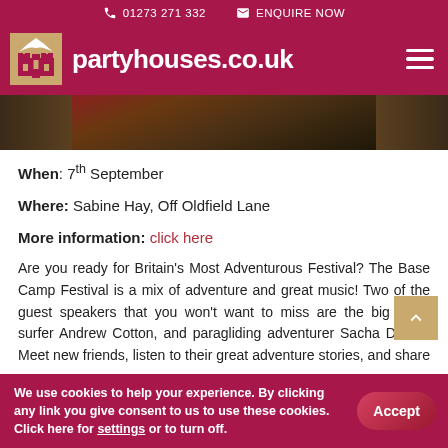01273 271 332   ENQUIRE NOW   partyhouses.co.uk
[Figure (photo): Outdoor festival scene with hay/straw and foliage in background]
When: 7th September
Where: Sabine Hay, Off Oldfield Lane
More information: click here
Are you ready for Britain's Most Adventurous Festival? The Base Camp Festival is a mix of adventure and great music! Two of the guest speakers that you won't want to miss are the big wave surfer Andrew Cotton, and paragliding adventurer Sacha Dench. Meet new friends, listen to their great adventure stories, and share yours.
We use cookies to help your experience. By clicking any link you give consent to us to use these cookies. Click here for settings or to turn off.